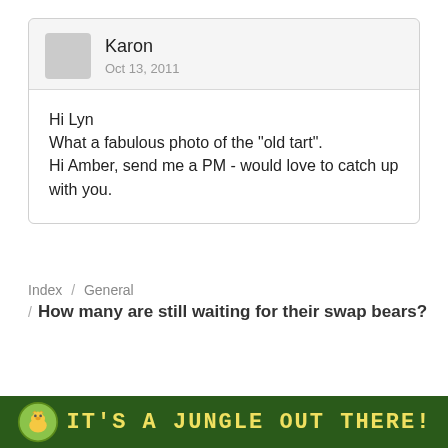Karon
Oct 13, 2011
Hi Lyn
What a fabulous photo of the "old tart".
Hi Amber, send me a PM - would love to catch up with you.
Index / General
How many are still waiting for their swap bears?
[Figure (illustration): Banner image with jungle theme text reading IT'S A JUNGLE OUT THERE! on a green background with cartoon animal icon]